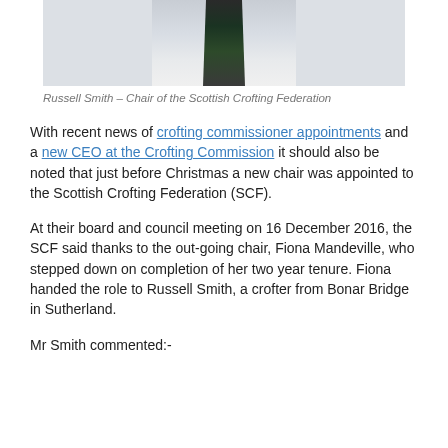[Figure (photo): Photo of Russell Smith, Chair of the Scottish Crofting Federation — torso shot showing white shirt and dark tartan tie]
Russell Smith – Chair of the Scottish Crofting Federation
With recent news of crofting commissioner appointments and a new CEO at the Crofting Commission it should also be noted that just before Christmas a new chair was appointed to the Scottish Crofting Federation (SCF).
At their board and council meeting on 16 December 2016, the SCF said thanks to the out-going chair, Fiona Mandeville, who stepped down on completion of her two year tenure. Fiona handed the role to Russell Smith, a crofter from Bonar Bridge in Sutherland.
Mr Smith commented:-